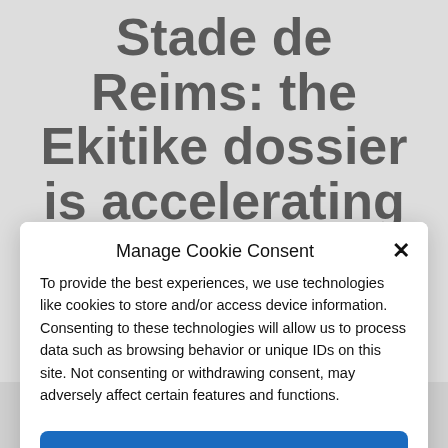Stade de Reims: the Ekitike dossier is accelerating
Defeated last week in the Maurice Revello tournament, won by France against Venezuela (2-1) in Toulon, Hugo
Manage Cookie Consent
To provide the best experiences, we use technologies like cookies to store and/or access device information. Consenting to these technologies will allow us to process data such as browsing behavior or unique IDs on this site. Not consenting or withdrawing consent, may adversely affect certain features and functions.
Accept
Cookie Policy